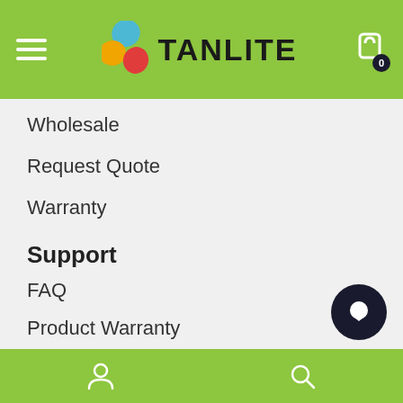TANLITE header with hamburger menu and cart
Wholesale
Request Quote
Warranty
Support
FAQ
Product Warranty
Contact Us
Footer navigation bar with user and search icons